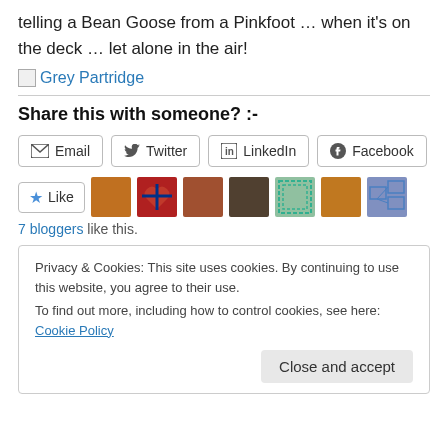telling a Bean Goose from a Pinkfoot … when it's on the deck … let alone in the air!
[Figure (other): Broken image placeholder labelled 'Grey Partridge' in blue link text]
Share this with someone? :-
Email
Twitter
LinkedIn
Facebook
[Figure (other): Like button with star icon and 7 blogger avatar thumbnails]
7 bloggers like this.
Privacy & Cookies: This site uses cookies. By continuing to use this website, you agree to their use.
To find out more, including how to control cookies, see here: Cookie Policy
Close and accept